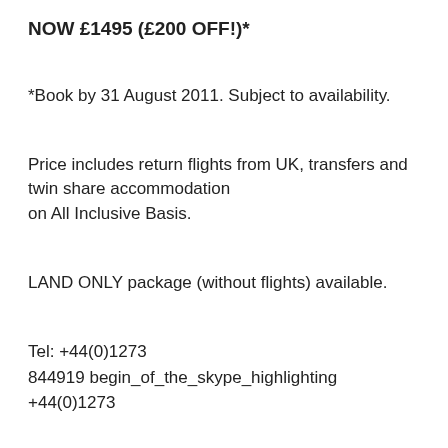NOW £1495 (£200 OFF!)*
*Book by 31 August 2011. Subject to availability.
Price includes return flights from UK, transfers and twin share accommodation on All Inclusive Basis.
LAND ONLY package (without flights) available.
Tel: +44(0)1273
844919 begin_of_the_skype_highlighting +44(0)1273